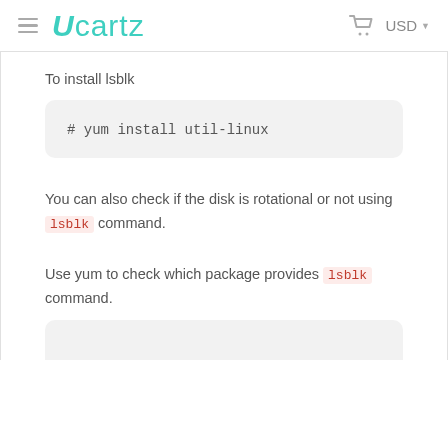Ucartz | USD
To install lsblk
# yum install util-linux
You can also check if the disk is rotational or not using lsblk command.
Use yum to check which package provides lsblk command.